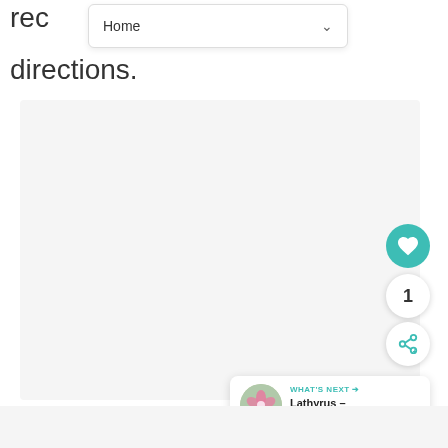rec
Home
directions.
[Figure (screenshot): Light grey rectangular area representing a map or content area placeholder]
[Figure (infographic): Teal heart/like button, count bubble showing 1, and a share button]
1
[Figure (infographic): What's Next panel showing a thumbnail of pink flowers and text 'Lathyrus – Perennial...' with teal label 'WHAT'S NEXT →']